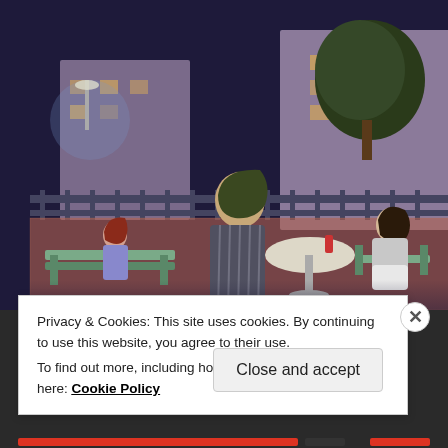[Figure (screenshot): Screenshot of The Sims 3 game showing three Sim characters at an outdoor cafe at night. A male Sim in a striped shirt stands in the foreground facing right; a female Sim in white pants and a gray top sits at a round cafe table; another female Sim in a purple/blue dress sits on a bench to the left. Background shows a dark purple night sky, ornate wrought iron fence, trees, and brick buildings with lit windows.]
Privacy & Cookies: This site uses cookies. By continuing to use this website, you agree to their use.
To find out more, including how to control cookies, see here: Cookie Policy
Close and accept